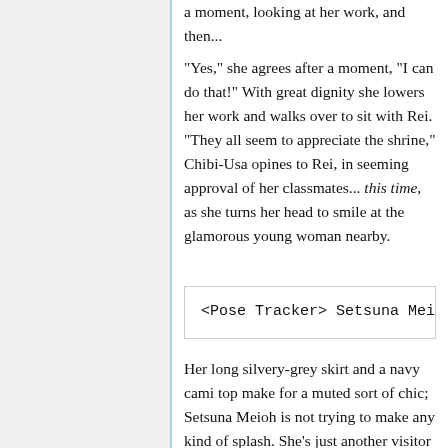a moment, looking at her work, and then...
"Yes," she agrees after a moment, "I can do that!" With great dignity she lowers her work and walks over to sit with Rei. "They all seem to appreciate the shrine," Chibi-Usa opines to Rei, in seeming approval of her classmates... this time, as she turns her head to smile at the glamorous young woman nearby.
<Pose Tracker> Setsuna Meioh [
Her long silvery-grey skirt and a navy cami top make for a muted sort of chic; Setsuna Meioh is not trying to make any kind of splash. She's just another visitor to Hikawa Shrine, or so she'd like to